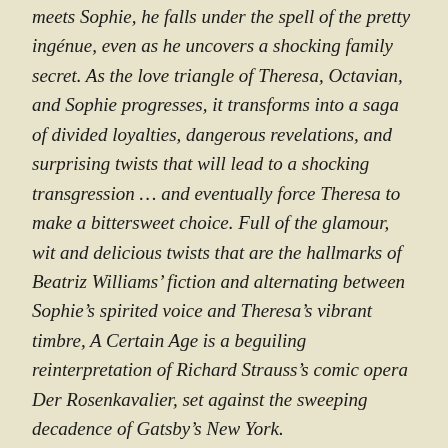meets Sophie, he falls under the spell of the pretty ingénue, even as he uncovers a shocking family secret. As the love triangle of Theresa, Octavian, and Sophie progresses, it transforms into a saga of divided loyalties, dangerous revelations, and surprising twists that will lead to a shocking transgression … and eventually force Theresa to make a bittersweet choice. Full of the glamour, wit and delicious twists that are the hallmarks of Beatriz Williams' fiction and alternating between Sophie's spirited voice and Theresa's vibrant timbre, A Certain Age is a beguiling reinterpretation of Richard Strauss's comic opera Der Rosenkavalier, set against the sweeping decadence of Gatsby's New York.